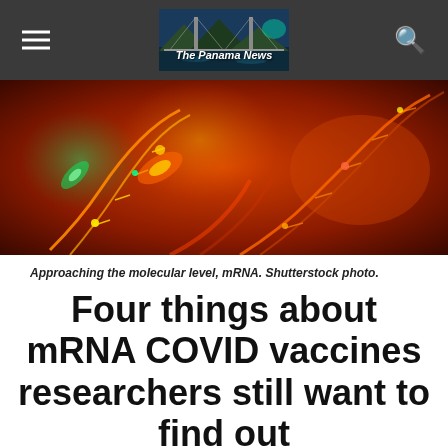The Panama News
[Figure (photo): Close-up scientific illustration of mRNA molecules at molecular level, orange/red toned with glowing green and yellow highlights, dramatic lighting]
Approaching the molecular level, mRNA. Shutterstock photo.
Four things about mRNA COVID vaccines researchers still want to find out
by Archa Fox, University of Western Australia and Harry Al-Wassiti, Monash University